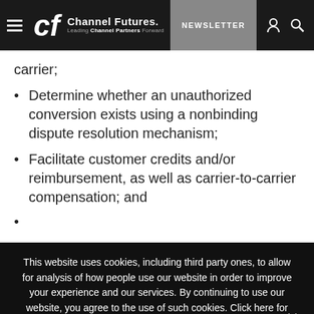Channel Futures - Leading Channel Partners Forward | NEWSLETTER
carrier;
Determine whether an unauthorized conversion exists using a nonbinding dispute resolution mechanism;
Facilitate customer credits and/or reimbursement, as well as carrier-to-carrier compensation; and
This website uses cookies, including third party ones, to allow for analysis of how people use our website in order to improve your experience and our services. By continuing to use our website, you agree to the use of such cookies. Click here for more information on our Cookie Policy and Privacy Policy.